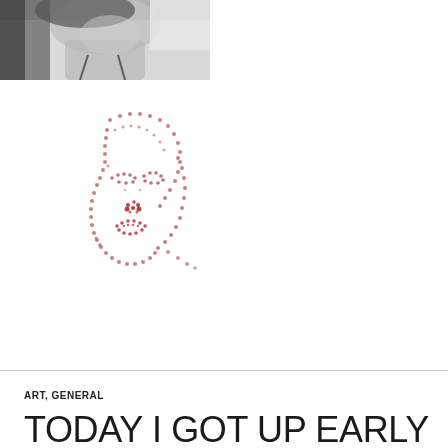[Figure (photo): Black and white photograph of a woman, cropped to show face and upper shoulders, smiling slightly, with light background.]
[Figure (illustration): Dot-art illustration of a woman's face in profile/three-quarter view, made up of small red and dark dots forming the outline of hair, face, eyes, nose, and lips.]
ART, GENERAL
TODAY I GOT UP EARLY